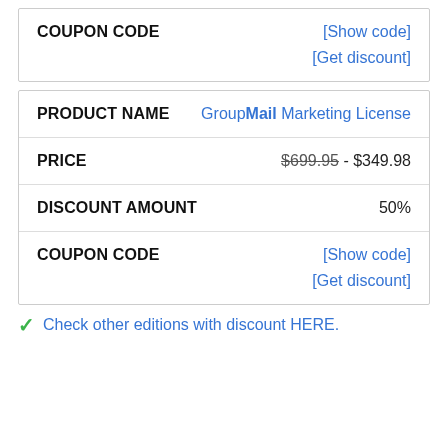| COUPON CODE |  |
| --- | --- |
|  | [Show code] |
|  | [Get discount] |
| PRODUCT NAME | GroupMail Marketing License |
| --- | --- |
| PRICE | $699.95 - $349.98 |
| DISCOUNT AMOUNT | 50% |
| COUPON CODE | [Show code]
[Get discount] |
✓ Check other editions with discount HERE.